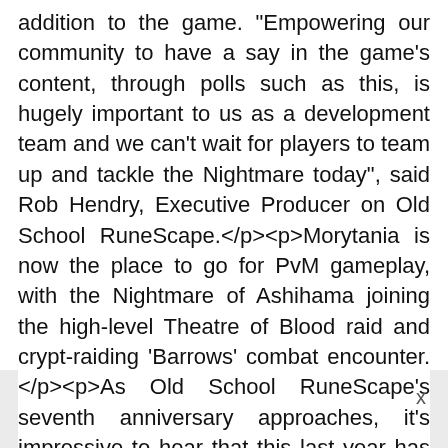addition to the game. "Empowering our community to have a say in the game's content, through polls such as this, is hugely important to us as a development team and we can't wait for players to team up and tackle the Nightmare today", said Rob Hendry, Executive Producer on Old School RuneScape.</p><p>Morytania is now the place to go for PvM gameplay, with the Nightmare of Ashihama joining the high-level Theatre of Blood raid and crypt-raiding 'Barrows' combat encounter.</p><p>As Old School RuneScape's seventh anniversary approaches, it's impressive to hear that this last year has been one of the best yet for the long-running MMO. In 2019, the game enjoyed its highest-e